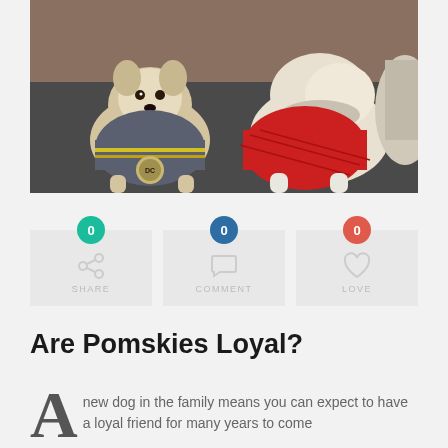[Figure (photo): Two small fluffy dogs wearing costumes on a grey rug. The left dog wears a grey jacket with a DC badge, and the right dog wears a red patterned outfit.]
[Figure (infographic): Social interaction buttons row showing three boxes: SHARE with 0 shares (teal badge), COMMENT with 0 comments (blue badge), and LOVE with 0 loves (salmon/red badge). Icons are share arrow, speech bubble, and heart.]
Are Pomskies Loyal?
A new dog in the family means you can expect to have a loyal friend for many years to come